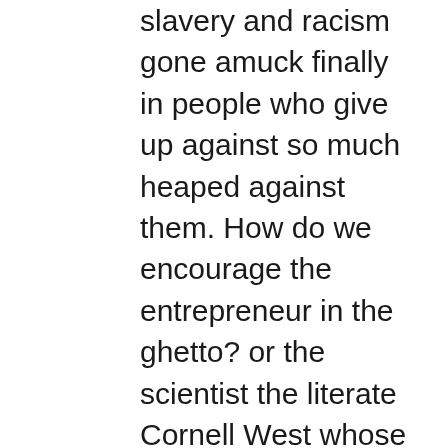slavery and racism gone amuck finally in people who give up against so much heaped against them. How do we encourage the entrepreneur in the ghetto? or the scientist the literate Cornell West whose views you might hate but who can enunciate them thoughtfully? The real reparations due are to equalize the schools make them better with teachers better paid and tested as to competency and smaller classrooms that enable the teacher and the greater number of counselors to monitor that a child does not go astray because of gang pressure or bad family environment. If a family needs welfare, it may also need support for life skills, for help in finding a job or to encourage the entrepreneur who might then prosper when before all seemed stacked against her...you say women do not